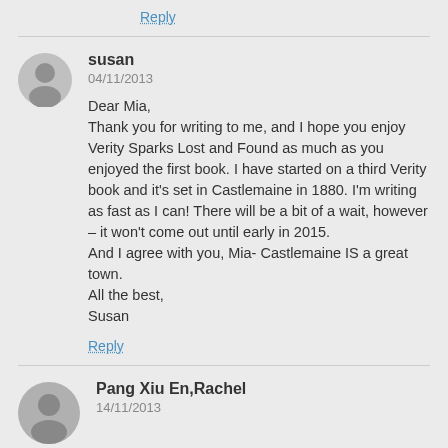Reply
susan
04/11/2013
Dear Mia,
Thank you for writing to me, and I hope you enjoy Verity Sparks Lost and Found as much as you enjoyed the first book. I have started on a third Verity book and it's set in Castlemaine in 1880. I'm writing as fast as I can! There will be a bit of a wait, however – it won't come out until early in 2015.
And I agree with you, Mia- Castlemaine IS a great town.
All the best,
Susan
Reply
Pang Xiu En,Rachel
14/11/2013